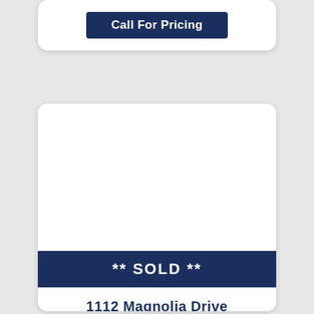Call For Pricing
** SOLD **
1112 Magnolia Drive